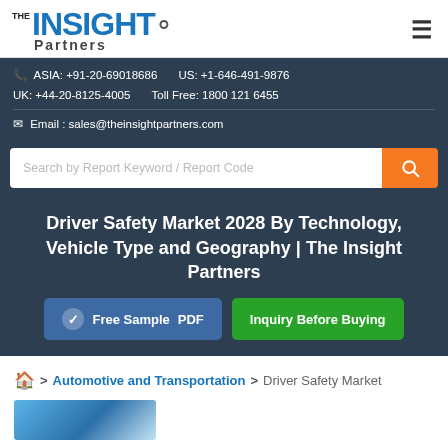The Insight Partners logo and navigation hamburger
ASIA: +91-20-69018686   US: +1-646-491-9876
UK: +44-20-8125-4005   Toll Free: 1800 121 6455
Email : sales@theinsightpartners.com
Search by Report Keyword / Report Code
Driver Safety Market 2028 By Technology, Vehicle Type and Geography | The Insight Partners
Free Sample PDF
Inquiry Before Buying
🏠 > Automotive and Transportation > Driver Safety Market
[Figure (photo): Partial blue automotive/transportation image at bottom left]